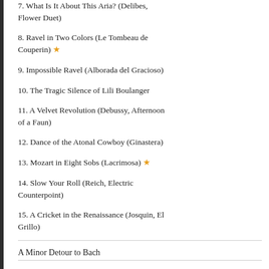7. What Is It About This Aria? (Delibes, Flower Duet)
8. Ravel in Two Colors (Le Tombeau de Couperin) ★
9. Impossible Ravel (Alborada del Gracioso)
10. The Tragic Silence of Lili Boulanger
11. A Velvet Revolution (Debussy, Afternoon of a Faun)
12. Dance of the Atonal Cowboy (Ginastera)
13. Mozart in Eight Sobs (Lacrimosa) ★
14. Slow Your Roll (Reich, Electric Counterpoint)
15. A Cricket in the Renaissance (Josquin, El Grillo)
A Minor Detour to Bach